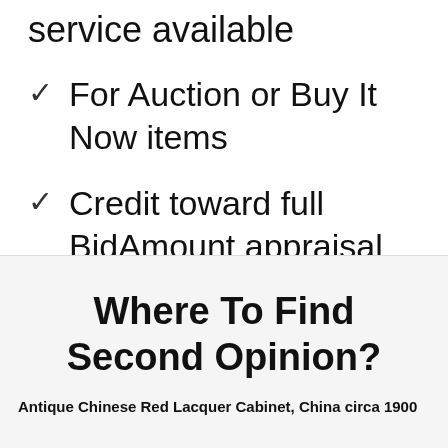service available
For Auction or Buy It Now items
Credit toward full BidAmount appraisal
Where To Find Second Opinion?
Antique Chinese Red Lacquer Cabinet, China circa 1900